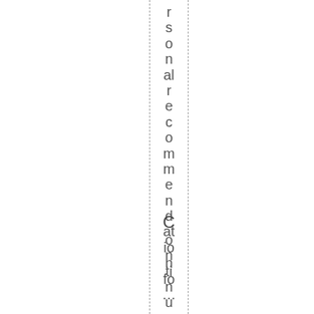rsonalrecommendation fo...
Contin u